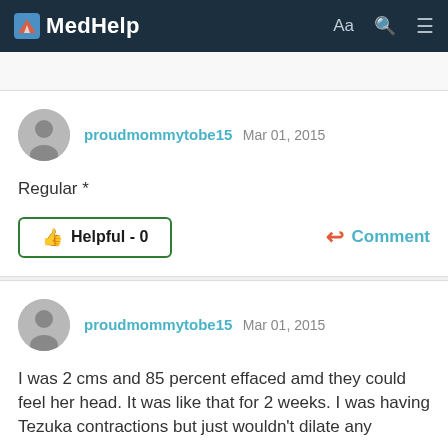MedHelp
proudmommytobe15 Mar 01, 2015
Regular *
Helpful - 0   Comment
proudmommytobe15 Mar 01, 2015
I was 2 cms and 85 percent effaced amd they could feel her head. It was like that for 2 weeks. I was having Tezuka contractions but just wouldn't dilate any